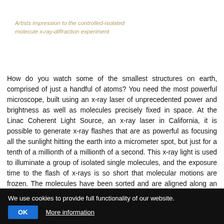Artists impression to the controlled-isolated molecule x-ray-diffraction experiment
How do you watch some of the smallest structures on earth, comprised of just a handful of atoms? You need the most powerful microscope, built using an x-ray laser of unprecedented power and brightness as well as molecules precisely fixed in space. At the Linac Coherent Light Source, an x-ray laser in California, it is possible to generate x-ray flashes that are as powerful as focusing all the sunlight hitting the earth into a micrometer spot, but just for a tenth of a millionth of a millionth of a second. This x-ray light is used to illuminate a group of isolated single molecules, and the exposure time to the flash of x-rays is so short that molecular motions are frozen. The molecules have been sorted and are aligned along an axis, using yet another powerful infrared laser field, and are finally imaged one by one by x-rays, to build up a diffraction pattern from many single molecules.
We use cookies to provide full functionality of our website.